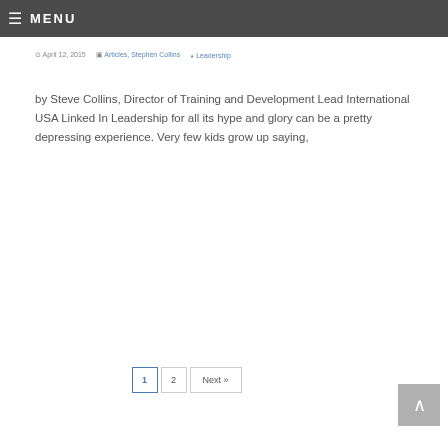MENU
April 12, 2015   Articles, Stephen Collins   Leadership
by Steve Collins, Director of Training and Development Lead International USA Linked In Leadership for all its hype and glory can be a pretty depressing experience. Very few kids grow up saying,
1  2  Next »